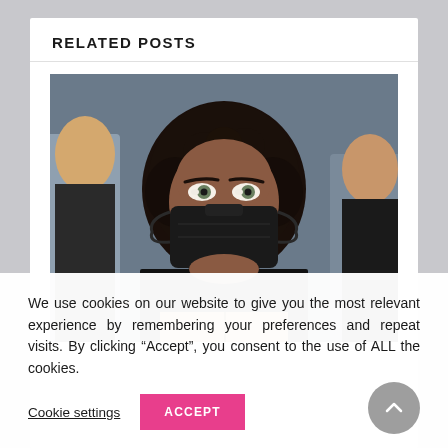RELATED POSTS
[Figure (photo): Person with curly black hair wearing a black face mask, holding a cardboard sign, photographed at a protest. Other masked individuals visible in background.]
We use cookies on our website to give you the most relevant experience by remembering your preferences and repeat visits. By clicking “Accept”, you consent to the use of ALL the cookies.
Cookie settings
ACCEPT